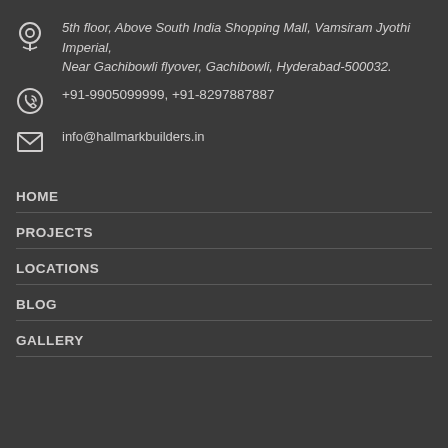5th floor, Above South India Shopping Mall, Vamsiram Jyothi Imperial, Near Gachibowli flyover, Gachibowli, Hyderabad-500032.
+91-9905099999, +91-8297887887
info@hallmarkbuilders.in
HOME
PROJECTS
LOCATIONS
BLOG
GALLERY